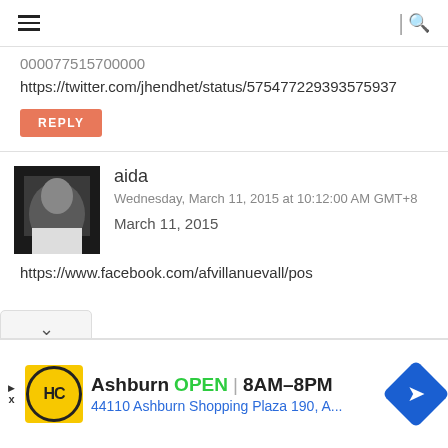Navigation menu | Search
000077515700000
https://twitter.com/jhendhet/status/575477229393575937
REPLY
[Figure (photo): Profile photo of user aida, a young woman with dark hair]
aida
Wednesday, March 11, 2015 at 10:12:00 AM GMT+8
March 11, 2015
https://www.facebook.com/afvillanuevall/pos
[Figure (infographic): Advertisement for HC (Home Depot or similar) in Ashburn showing OPEN 8AM-8PM and address 44110 Ashburn Shopping Plaza 190, A...]